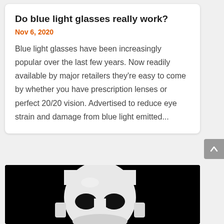Do blue light glasses really work?
Nov 6, 2020
Blue light glasses have been increasingly popular over the last few years. Now readily available by major retailers they're easy to come by whether you have prescription lenses or perfect 20/20 vision. Advertised to reduce eye strain and damage from blue light emitted...
[Figure (photo): Black and white photo of a white mask on a black background, showing a Guy Fawkes / anonymous style mask with dark eye holes]